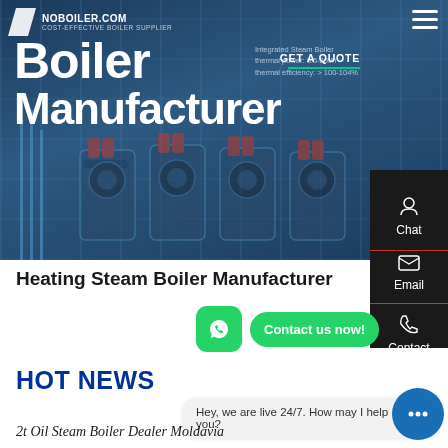[Figure (screenshot): Hero banner of boiler manufacturer website with dark overlay, showing industrial boiler machines. Logo and navigation at top.]
Boiler
Manufacturer
COST-EFFECTIVE BOILER SUPPLIER
GET A QUOTE
Chat
Email
Contact
Heating Steam Boiler Manufacturer
Contact us now!
HOT NEWS
Hey, we are live 24/7. How may I help you?
2t Oil Steam Boiler Dealer Moldavia